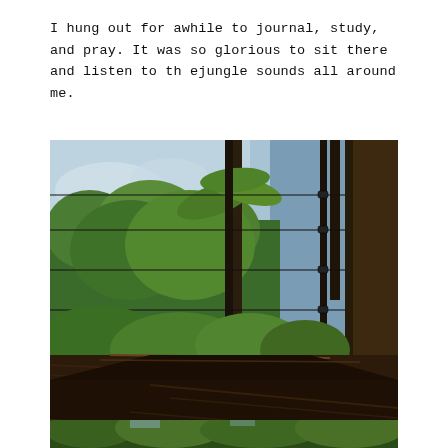I hung out for awhile to journal, study, and pray. It was so glorious to sit there and listen to th ejungle sounds all around me.
[Figure (photo): A low-angle view from a wooden deck looking out through cable railings toward a lush tropical jungle. Tall palm trees and dense green foliage visible in the background under a partly cloudy sky. A wooden surface in the foreground occupies the lower half of the image.]
[Figure (photo): Partial view of a second jungle/outdoor photo cropped at the bottom of the page, showing treetops and vegetation.]